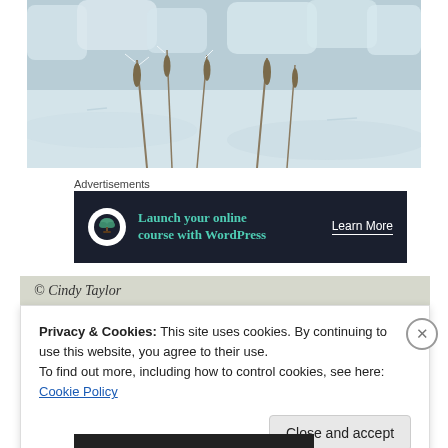[Figure (photo): Winter snow scene with frost-covered reeds and shrubs against a pale blue-grey snowy landscape]
Advertisements
[Figure (infographic): Dark advertisement banner: icon of a bonsai tree in a white circle, text 'Launch your online course with WordPress' in teal, 'Learn More' button in white]
© Cindy Taylor
Privacy & Cookies: This site uses cookies. By continuing to use this website, you agree to their use.
To find out more, including how to control cookies, see here: Cookie Policy
Close and accept